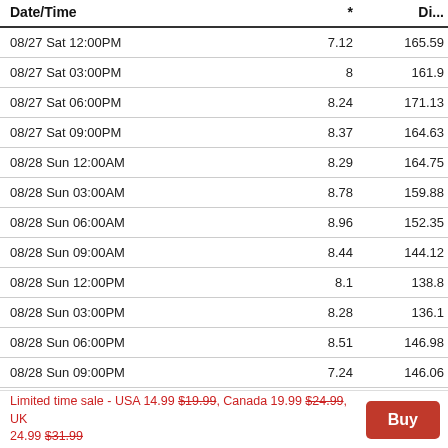| Date/Time | * | Di... |
| --- | --- | --- |
| 08/27 Sat 12:00PM | 7.12 | 165.59 |
| 08/27 Sat 03:00PM | 8 | 161.9 |
| 08/27 Sat 06:00PM | 8.24 | 171.13 |
| 08/27 Sat 09:00PM | 8.37 | 164.63 |
| 08/28 Sun 12:00AM | 8.29 | 164.75 |
| 08/28 Sun 03:00AM | 8.78 | 159.88 |
| 08/28 Sun 06:00AM | 8.96 | 152.35 |
| 08/28 Sun 09:00AM | 8.44 | 144.12 |
| 08/28 Sun 12:00PM | 8.1 | 138.8 |
| 08/28 Sun 03:00PM | 8.28 | 136.1 |
| 08/28 Sun 06:00PM | 8.51 | 146.98 |
| 08/28 Sun 09:00PM | 7.24 | 146.06 |
Limited time sale - USA 14.99 $19.99, Canada 19.99 $24.99, UK 24.99 $31.99